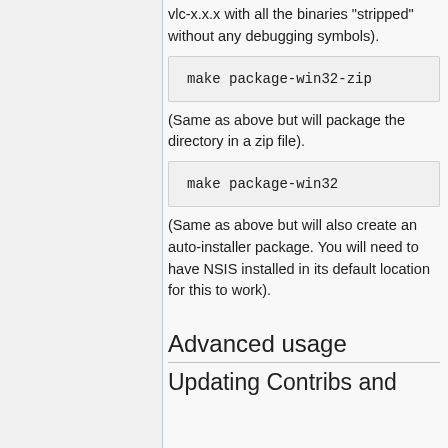vlc-x.x.x with all the binaries "stripped" without any debugging symbols).
(Same as above but will package the directory in a zip file).
(Same as above but will also create an auto-installer package. You will need to have NSIS installed in its default location for this to work).
Advanced usage
Updating Contribs and ...